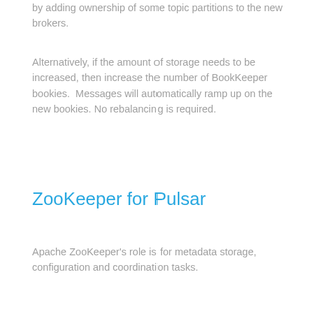by adding ownership of some topic partitions to the new brokers.
Alternatively, if the amount of storage needs to be increased, then increase the number of BookKeeper bookies.  Messages will automatically ramp up on the new bookies. No rebalancing is required.
ZooKeeper for Pulsar
Apache ZooKeeper's role is for metadata storage, configuration and coordination tasks.